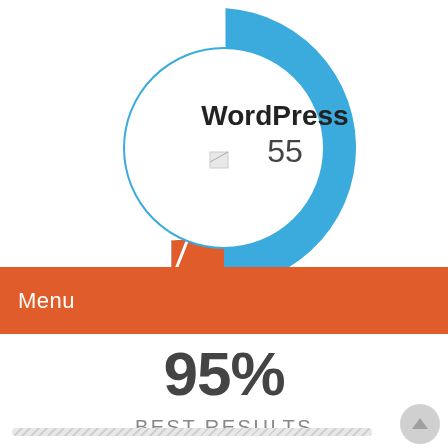[Figure (donut-chart): WordPress]
Menu
95%
BEST RESULTS